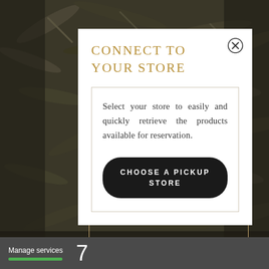[Figure (screenshot): Tea leaves background image with dark overlay sides and a modal dialog overlay]
CONNECT TO YOUR STORE
Select your store to easily and quickly retrieve the products available for reservation.
CHOOSE A PICKUP STORE
Manage services   7